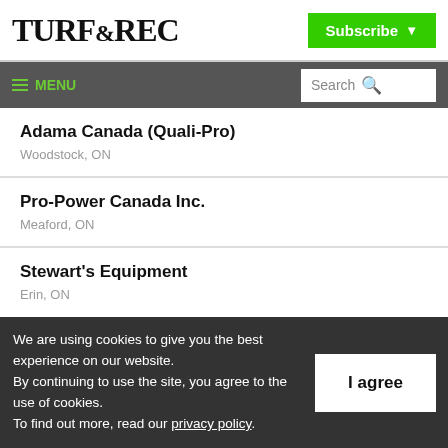TURF&REC
Subscribe
≡ MENU  Search
Adama Canada (Quali-Pro)
Woodstock, ON
Pro-Power Canada Inc.
Meaford, ON
Stewart's Equipment
Erin, ON
We are using cookies to give you the best experience on our website. By continuing to use the site, you agree to the use of cookies. To find out more, read our privacy policy.